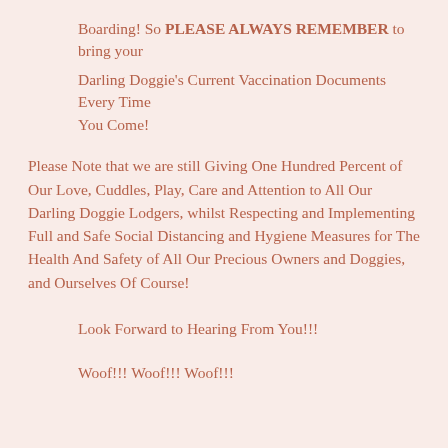Boarding! So PLEASE ALWAYS REMEMBER to bring your
Darling Doggie's Current Vaccination Documents Every Time
You Come!
Please Note that we are still Giving One Hundred Percent of Our Love, Cuddles, Play, Care and Attention to All Our Darling Doggie Lodgers, whilst Respecting and Implementing Full and Safe Social Distancing and Hygiene Measures for The Health And Safety of All Our Precious Owners and Doggies, and Ourselves Of Course!
Look Forward to Hearing From You!!!
Woof!!! Woof!!! Woof!!!